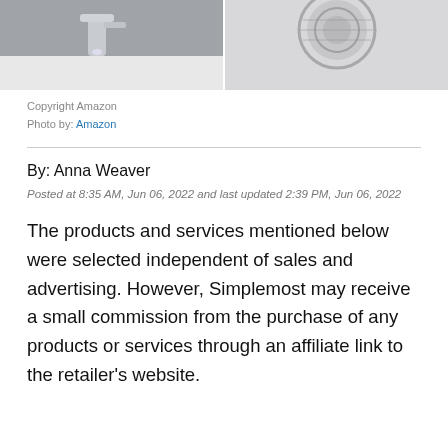[Figure (photo): Two product photos cropped at top: left shows a silver bathroom faucet, right shows a metallic scrubbing pad or strainer, both on white backgrounds.]
Copyright Amazon
Photo by: Amazon
By: Anna Weaver
Posted at 8:35 AM, Jun 06, 2022 and last updated 2:39 PM, Jun 06, 2022
The products and services mentioned below were selected independent of sales and advertising. However, Simplemost may receive a small commission from the purchase of any products or services through an affiliate link to the retailer's website.